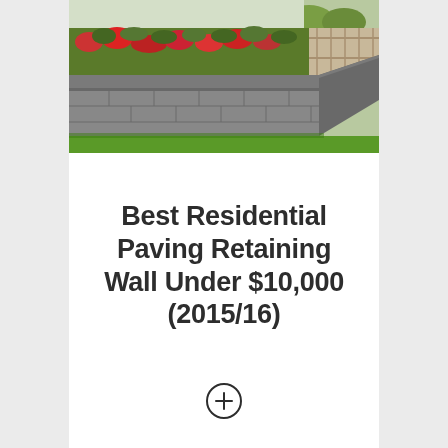[Figure (photo): Photograph of a modern residential retaining wall made of grey concrete blocks, with a flower bed of red and green plants behind the wall, and a neat green lawn in front. A wooden fence is visible in the background.]
Best Residential Paving Retaining Wall Under $10,000 (2015/16)
[Figure (other): A circular plus/add button icon (circle with a + sign inside)]